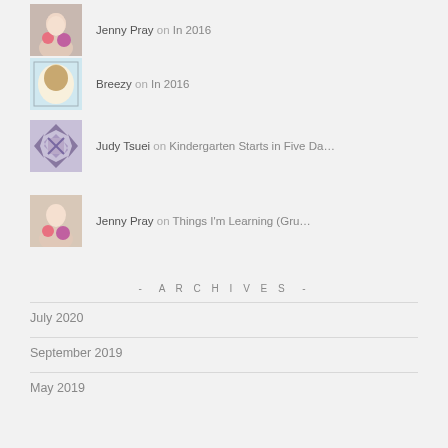Jenny Pray on In 2016
Breezy on In 2016
Judy Tsuei on Kindergarten Starts in Five Da…
Jenny Pray on Things I'm Learning (Gru…
- ARCHIVES -
July 2020
September 2019
May 2019